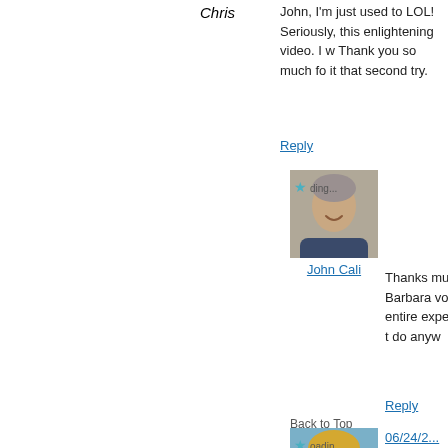Chris
John, I'm just used to LOL! Seriously, this enlightening video. I w Thank you so much fo it that second try.
Reply
06/24/2... at 7:36
[Figure (photo): Avatar photo of John Cali, a man with gray hair smiling]
John Cali
Thanks much, C agree Barbara voice enhance entire experien She s better t do anyw
Reply
Back to Top
06/24/2... at 8:46
[Figure (photo): Avatar photo of a woman with blonde hair]